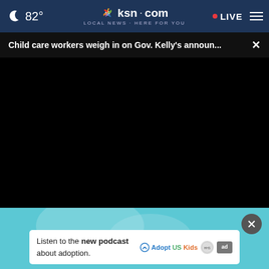🌙 82° | ksn.com LOCAL NEWS · HERE FOR YOU | • LIVE ≡
Child care workers weigh in on Gov. Kelly's announ... ×
[Figure (screenshot): Black video player area with playback scrubber and controls (play button, mute button, 00:00 timestamp, captions, fullscreen)]
[Figure (other): Advertisement overlay: teal/blue background with close X button and white ad card reading 'Listen to the new podcast about adoption.' with Adopt US Kids and HHS logos and ad badge]